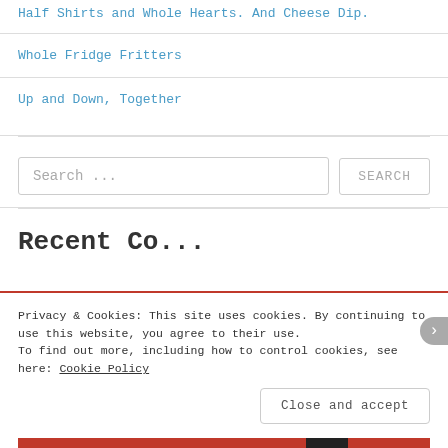Half Shirts and Whole Hearts. And Cheese Dip.
Whole Fridge Fritters
Up and Down, Together
[Figure (screenshot): Search bar with text 'Search ...' and a SEARCH button]
Recent Co...
Privacy & Cookies: This site uses cookies. By continuing to use this website, you agree to their use.
To find out more, including how to control cookies, see here: Cookie Policy
Close and accept